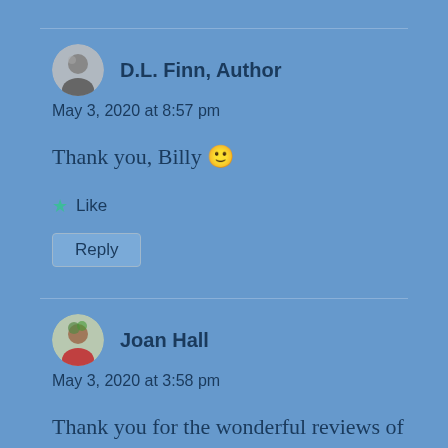D.L. Finn, Author
May 3, 2020 at 8:57 pm
Thank you, Billy 🙂
Like
Reply
Joan Hall
May 3, 2020 at 3:58 pm
Thank you for the wonderful reviews of my